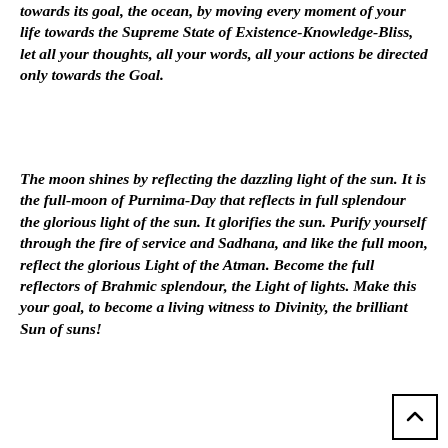towards its goal, the ocean, by moving every moment of your life towards the Supreme State of Existence-Knowledge-Bliss, let all your thoughts, all your words, all your actions be directed only towards the Goal.
The moon shines by reflecting the dazzling light of the sun. It is the full-moon of Purnima-Day that reflects in full splendour the glorious light of the sun. It glorifies the sun. Purify yourself through the fire of service and Sadhana, and like the full moon, reflect the glorious Light of the Atman. Become the full reflectors of Brahmic splendour, the Light of lights. Make this your goal, to become a living witness to Divinity, the brilliant Sun of suns!